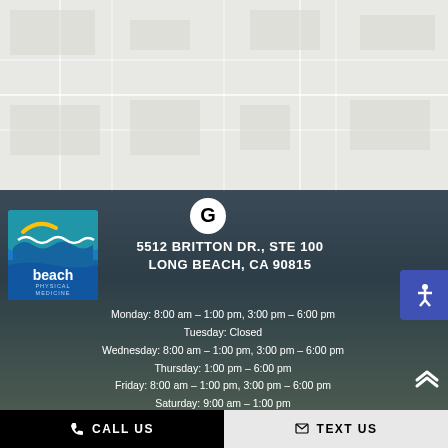[Figure (map): Google Maps embedded map showing the area around 5512 Britton Dr, Long Beach, CA 90815. Light gray map background with road lines.]
[Figure (logo): Beach Physical Medicine logo: blue box with ocean waves graphic in white and yellow, text 'beach PHYSICAL MEDICINE' in white on blue background.]
[Figure (logo): Google G logo circle icon, white circle with black G letter.]
5512 BRITTON DR., STE 100 LONG BEACH, CA 90815
Monday: 8:00 am – 1:00 pm, 3:00 pm – 6:00 pm
Tuesday: Closed
Wednesday: 8:00 am – 1:00 pm, 3:00 pm – 6:00 pm
Thursday: 1:00 pm – 6:00 pm
Friday: 8:00 am – 1:00 pm, 3:00 pm – 6:00 pm
Saturday: 9:00 am – 1:00 pm
Sunday: Closed
CALL US
TEXT US